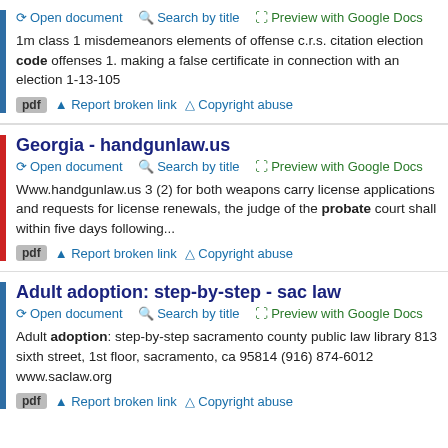1m class 1 misdemeanors elements of offense c.r.s. citation election code offenses 1. making a false certificate in connection with an election 1-13-105
Open document  Search by title  Preview with Google Docs  |  pdf  Report broken link  Copyright abuse
Georgia - handgunlaw.us
Open document  Search by title  Preview with Google Docs
Www.handgunlaw.us 3 (2) for both weapons carry license applications and requests for license renewals, the judge of the probate court shall within five days following...
pdf  Report broken link  Copyright abuse
Adult adoption: step-by-step - sac law
Open document  Search by title  Preview with Google Docs
Adult adoption: step-by-step sacramento county public law library 813 sixth street, 1st floor, sacramento, ca 95814 (916) 874-6012 www.saclaw.org
pdf  Report broken link  Copyright abuse